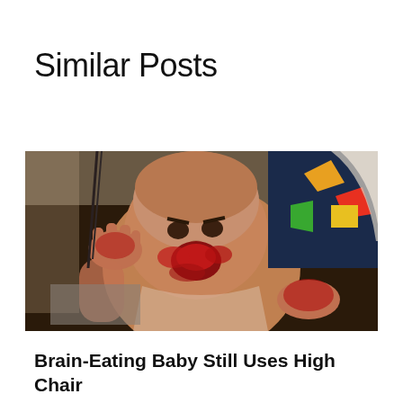Similar Posts
[Figure (photo): A baby in a high chair with red food mess around its mouth and hands, making an angry expression. In the background are colorful items. A yellow square button with an upward arrow is overlaid in the center-bottom area. Navigation arrows appear on left and right sides.]
Brain-Eating Baby Still Uses High Chair